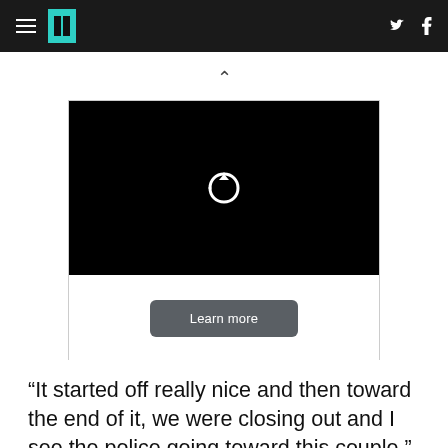HuffPost
[Figure (screenshot): Video player with black screen showing a replay/refresh icon, and a 'Learn more' button below on white background]
“It started off really nice and then toward the end of it, we were closing out and I see the police going toward this couple,” she said. “And I seen my son running up there and I see him recording.